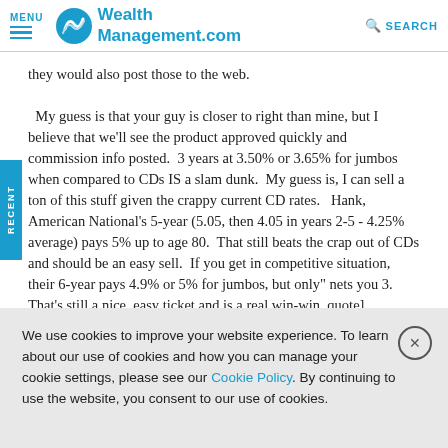MENU | WealthManagement.com | SEARCH
they would also post those to the web.

My guess is that your guy is closer to right than mine, but I believe that we'll see the product approved quickly and commission info posted. 3 years at 3.50% or 3.65% for jumbos when compared to CDs IS a slam dunk. My guess is, I can sell a ton of this stuff given the crappy current CD rates. Hank, American National's 5-year (5.05, then 4.05 in years 2-5 - 4.25% average) pays 5% up to age 80. That still beats the crap out of CDs and should be an easy sell. If you get in competitive situation, their 6-year pays 4.9% or 5% for jumbos, but only" nets you 3. That's still a nice, easy ticket and is a real win-win. quote]
We use cookies to improve your website experience. To learn about our use of cookies and how you can manage your cookie settings, please see our Cookie Policy. By continuing to use the website, you consent to our use of cookies.